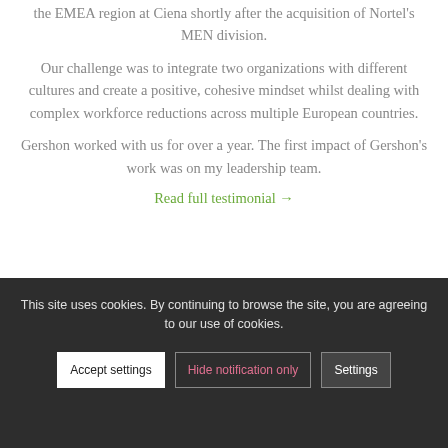the EMEA region at Ciena shortly after the acquisition of Nortel's MEN division.
Our challenge was to integrate two organizations with different cultures and create a positive, cohesive mindset whilst dealing with complex workforce reductions across multiple European countries.
Gershon worked with us for over a year. The first impact of Gershon's work was on my leadership team.
Read full testimonial →
This site uses cookies. By continuing to browse the site, you are agreeing to our use of cookies.
Accept settings
Hide notification only
Settings